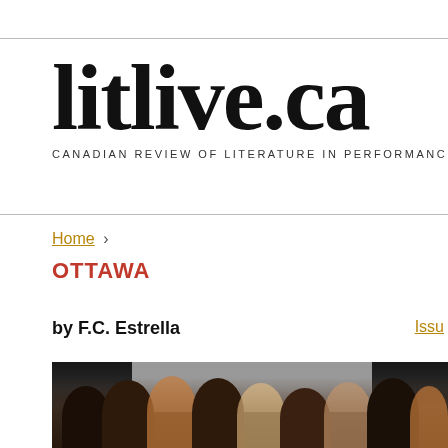litlive.ca
CANADIAN REVIEW OF LITERATURE IN PERFORMANCE
Home › OTTAWA
OTTAWA
by F.C. Estrella
Issu
[Figure (photo): Group photo of several young women smiling and raising their index fingers, standing in front of a projection screen in a dark venue.]